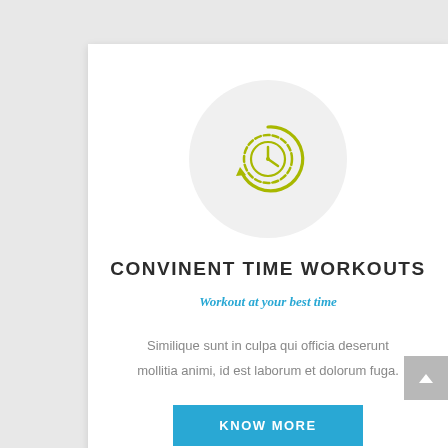[Figure (illustration): A circular grey background containing a yellow-green clock/timer icon with refresh arrows around it]
CONVINENT TIME WORKOUTS
Workout at your best time
Similique sunt in culpa qui officia deserunt mollitia animi, id est laborum et dolorum fuga.
KNOW MORE